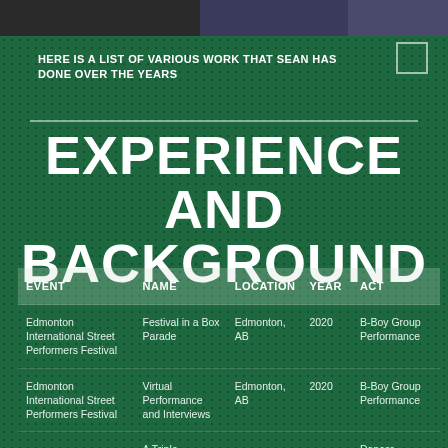HERE IS A LIST OF VARIOUS WORK THAT SEAN HAS DONE OVER THE YEARS
EXPERIENCE AND BACKGROUND
| EVENT | NAME | LOCATION | YEAR | ACT |
| --- | --- | --- | --- | --- |
| Edmonton International Street Performers Festival | Festival in a Box Parade | Edmonton, AB | 2020 | B-Boy Group Performance |
| Edmonton International Street Performers Festival | Virtual Performance and Interviews | Edmonton, AB | 2020 | B-Boy Group Performance |
|  | A Triple |  |  | Dancer |